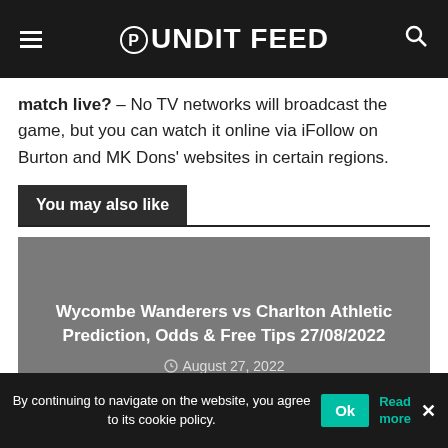Pundit Feed
match live? – No TV networks will broadcast the game, but you can watch it online via iFollow on Burton and MK Dons' websites in certain regions.
You may also like
[Figure (other): Card with gray background showing article link: Wycombe Wanderers vs Charlton Athletic Prediction, Odds & Free Tips 27/08/2022, dated August 27, 2022]
By continuing to navigate on the website, you agree to its cookie policy.